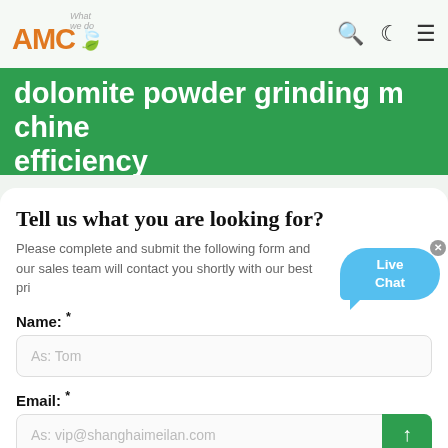What we do
dolomite powder grinding machine efficiency
Tell us what you are looking for?
Please complete and submit the following form and our sales team will contact you shortly with our best price.
Name: *
As: Tom
Email: *
As: vip@shanghaimeilan.com
Phone: *
With Country Code
The location of the Project: